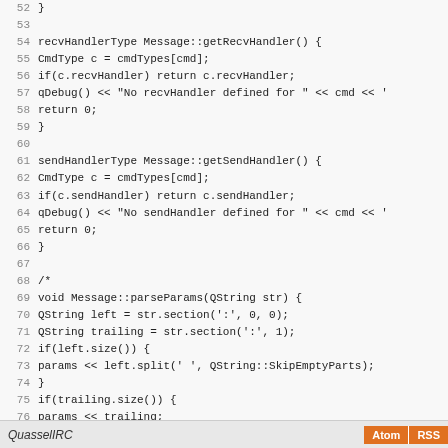[Figure (screenshot): Source code listing in C++ with line numbers 52-81, showing recvHandlerType and sendHandlerType methods, and a commented-out parseParams method of the Message class.]
QuasselIRC   Atom RSS